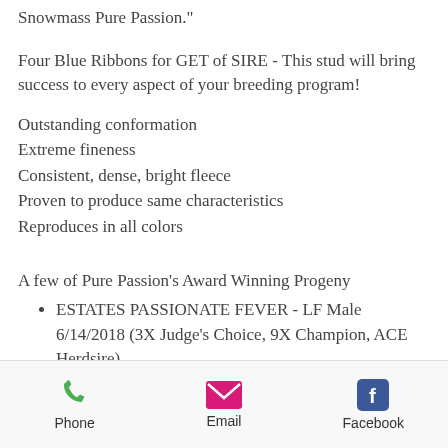Snowmass Pure Passion."
Four Blue Ribbons for GET of SIRE - This stud will bring success to every aspect of your breeding program!
Outstanding conformation
Extreme fineness
Consistent, dense, bright fleece
Proven to produce same characteristics
Reproduces in all colors
A few of Pure Passion's Award Winning Progeny
ESTATES PASSIONATE FEVER - LF Male 6/14/2018 (3X Judge's Choice, 9X Champion, ACE Herdsire)
ESTATES PURE REFLECTION - LSC...
Phone  Email  Facebook